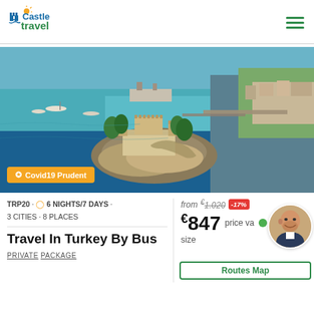[Figure (logo): Castle Travel logo with castle icon and orange sun accent]
[Figure (photo): Aerial view of a coastal Turkish town with a castle island, blue sea, harbor, and boats]
Covid19 Prudent
TRP20 · 6 NIGHTS/7 DAYS · 3 CITIES · 8 PLACES
Travel In Turkey By Bus
PRIVATE PACKAGE
from €1.020 -17% €847 price va size
Routes Map